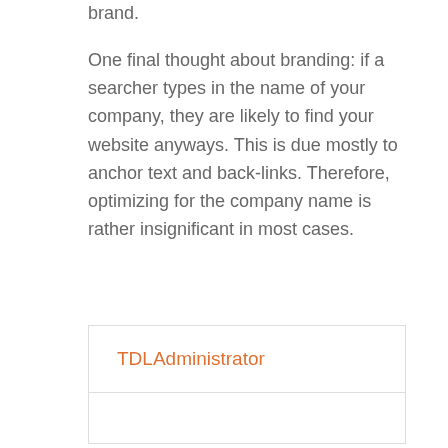brand.
One final thought about branding: if a searcher types in the name of your company, they are likely to find your website anyways. This is due mostly to anchor text and back-links. Therefore, optimizing for the company name is rather insignificant in most cases.
TDLAdministrator